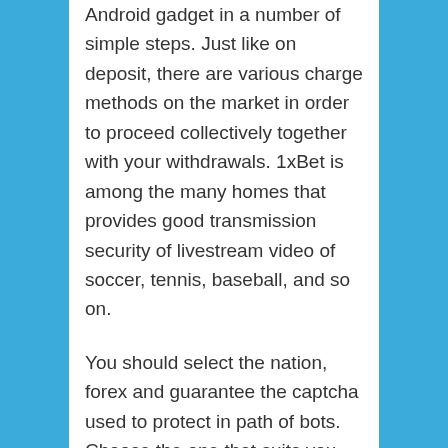Android gadget in a number of simple steps. Just like on deposit, there are various charge methods on the market in order to proceed collectively together with your withdrawals. 1xBet is among the many homes that provides good transmission security of livestream video of soccer, tennis, baseball, and so on.
You should select the nation, forex and guarantee the captcha used to protect in path of bots. Choose the one that suits you best, use the 1xBet promo code for registration and start the betting adventure. You might need to choose considered one of many withdrawal methods on the official website online of the corporate. Anyone can proceed to deposit cash to your account to get the 1xBet promo code Ghana bonus as